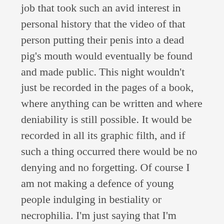job that took such an avid interest in personal history that the video of that person putting their penis into a dead pig's mouth would eventually be found and made public. This night wouldn't just be recorded in the pages of a book, where anything can be written and where deniability is still possible. It would be recorded in all its graphic filth, and if such a thing occurred there would be no denying and no forgetting. Of course I am not making a defence of young people indulging in bestiality or necrophilia. I'm just saying that I'm unsure if that person would still have become Prime Minister.
To find out just how much I had told